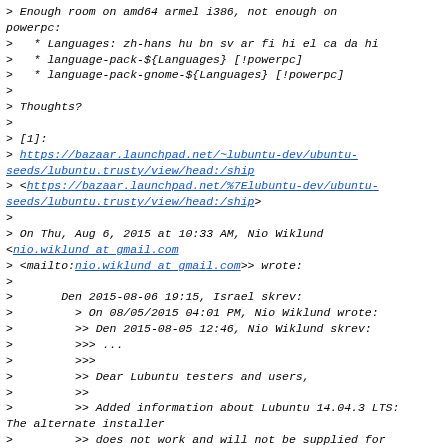> Enough room on amd64 armel i386, not enough on powerpc:
>   * Languages: zh-hans hu bn sv ar fi hi el ca da hi
>   * language-pack-${Languages} [!powerpc]
>   * language-pack-gnome-${Languages} [!powerpc]
>
> Thoughts?
>
> [1]:
> https://bazaar.launchpad.net/~lubuntu-dev/ubuntu-seeds/lubuntu.trusty/view/head:/ship
> <https://bazaar.launchpad.net/%7Elubuntu-dev/ubuntu-seeds/lubuntu.trusty/view/head:/ship>
>
> On Thu, Aug 6, 2015 at 10:33 AM, Nio Wiklund <nio.wiklund at gmail.com
> <mailto:nio.wiklund at gmail.com>> wrote:
>
>       Den 2015-08-06 19:15, Israel skrev:
>         > On 08/05/2015 04:01 PM, Nio Wiklund wrote:
>         >> Den 2015-08-05 12:46, Nio Wiklund skrev:
>         >> ...
>         >>
>         >> Dear Lubuntu testers and users,
>         >>
>         >> Added information about Lubuntu 14.04.3 LTS: The alternate installer
>         >> does not work and will not be supplied for this point version. The
>         >> desktop installer is oversized for CD. There